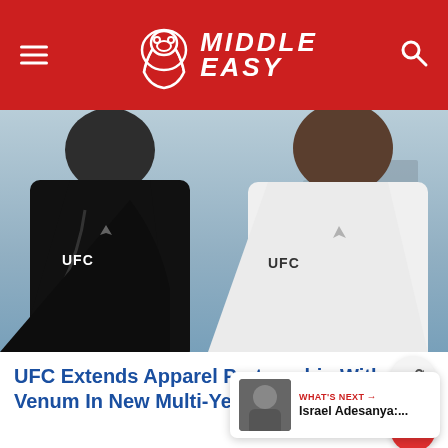MIDDLE EASY
[Figure (photo): Two UFC fighters wearing UFC Venum apparel — one in black jersey on the left, one in white jersey on the right — posed outdoors with a city skyline background.]
UFC Extends Apparel Partnership With Venum In New Multi-Year Deal
[Figure (photo): What's Next thumbnail showing Israel Adesanya promotional image]
WHAT'S NEXT → Israel Adesanya:...